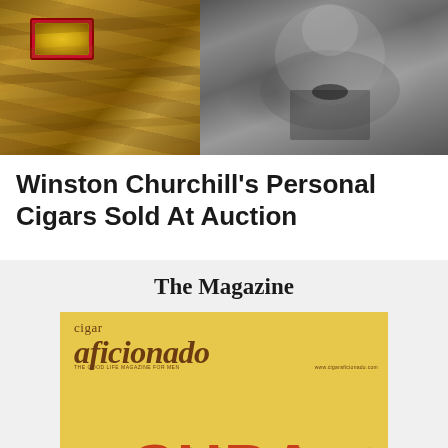[Figure (photo): Two photos side by side: left shows Cuban cigars with a red band label, right shows a black and white portrait of Winston Churchill in a bow tie]
Winston Churchill's Personal Cigars Sold At Auction
The Magazine
[Figure (photo): Cover of Cigar Aficionado magazine with yellow background, the magazine title 'cigar aficionado' in brown italic letters, palm tree silhouettes, and large red text reading 'CUBA']